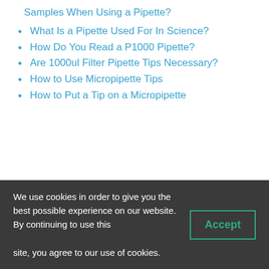Samples When Using a Pipette?
What Is a Pipette Used For In Science?
How Do You Read a P1000 Pipette?
Are 1000ul Filter Pipette Tips Necessary?
How to Use Micropipette Tips
How to Put a Tip on a Micropipette
[Figure (other): Blue background section with large faded italic watermark text]
We use cookies in order to give you the best possible experience on our website. By continuing to use this site, you agree to our use of cookies. Accept